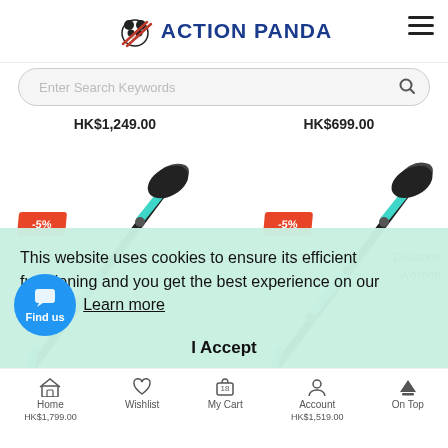ACTION PANDA
Enter Search Keywords
HK$1,249.00  HK$699.00
[Figure (photo): Two trekking/hiking poles with teal/blue metallic body and black grip with wrist straps, each showing a -5% discount badge in red]
This website uses cookies to ensure its efficient functioning and you get the best experience on our website  Learn more
I Accept
Find us
Home  Wishlist  My Cart  Account  On Top